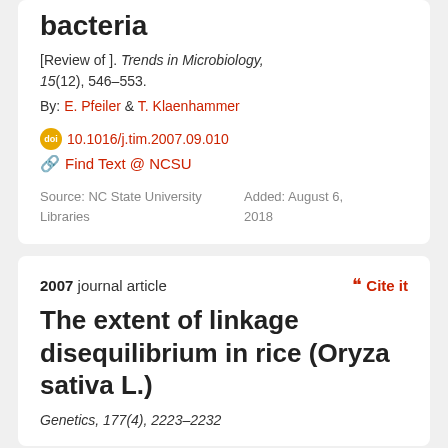bacteria
[Review of ]. Trends in Microbiology, 15(12), 546–553.
By: E. Pfeiler & T. Klaenhammer
doi 10.1016/j.tim.2007.09.010
Find Text @ NCSU
Source: NC State University Libraries    Added: August 6, 2018
2007 journal article
The extent of linkage disequilibrium in rice (Oryza sativa L.)
Genetics, 177(4), 2223–2232